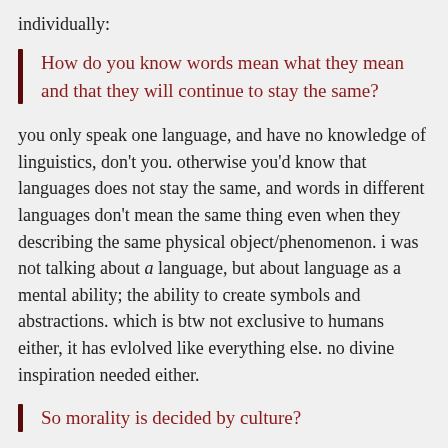individually:
How do you know words mean what they mean and that they will continue to stay the same?
you only speak one language, and have no knowledge of linguistics, don't you. otherwise you'd know that languages does not stay the same, and words in different languages don't mean the same thing even when they describing the same physical object/phenomenon. i was not talking about a language, but about language as a mental ability; the ability to create symbols and abstractions. which is btw not exclusive to humans either, it has evlolved like everything else. no divine inspiration needed either.
So morality is decided by culture?